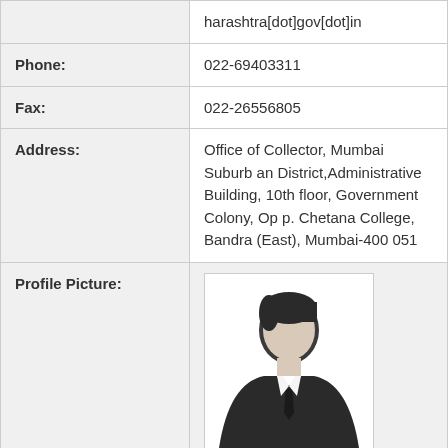| harashtra[dot]gov[dot]in |
| Phone: | 022-69403311 |
| Fax: | 022-26556805 |
| Address: | Office of Collector, Mumbai Suburban District,Administrative Building, 10th floor, Government Colony, Opp. Chetana College, Bandra (East), Mumbai-400 051 |
| Profile Picture: | [profile silhouette image] |
| Name: | Additional Collector |
| Designation: | Additional Collector |